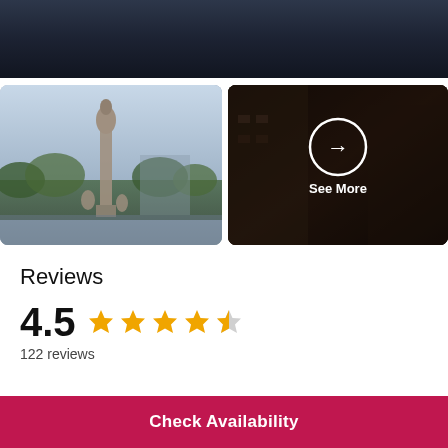[Figure (photo): Top panoramic photo of a city square with dark evening sky and monument silhouette]
[Figure (photo): Statue monument photo in daylight with cloudy sky and trees in background]
[Figure (photo): Dark building photo with See More overlay and arrow circle button]
Reviews
4.5 ★★★★½ 122 reviews
Check Availability